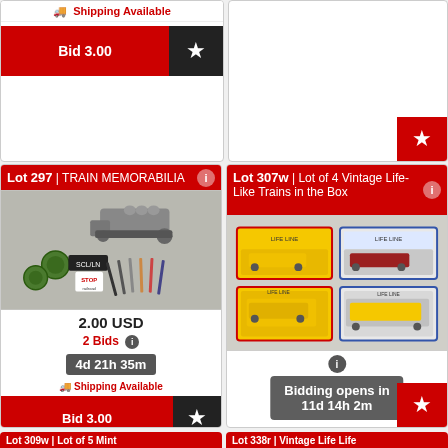Shipping Available
Bid 3.00
Lot 297 | TRAIN MEMORABILIA
[Figure (photo): Train memorabilia including a toy locomotive, patches, pencils, and railroad-related items on a gray background]
2.00 USD
2 Bids
4d 21h 35m
Shipping Available
Bid 3.00
Lot 307w | Lot of 4 Vintage Life-Like Trains in the Box
[Figure (photo): Four vintage Life-Like train models in their original red and blue packaging boxes, arranged in a 2x2 grid]
Bidding opens in 11d 14h 2m
Lot 309w | Lot of 5 Mint
Lot 338r | Vintage Life Life